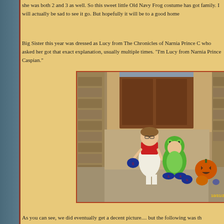she was both 2 and 3 as well. So this sweet little Old Navy Frog costume has got family. I will actually be sad to see it go. But hopefully it will be to a good home
Big Sister this year was dressed as Lucy from The Chronicles of Narnia Prince C who asked her got that exact explanation, usually multiple times. "I'm Lucy from Narnia Prince Caspian."
[Figure (photo): Two children in Halloween costumes sitting in front of a house entrance. One child is dressed as Lucy from Narnia in a white dress with red cape, holding a Superman trick-or-treat bag. The other child is in a green frog/turtle costume with Superman shoes, sitting next to a carved jack-o-lantern pumpkin and a small orange pumpkin. Date stamp reads 10/31/2008.]
As you can see, we did eventually get a decent picture.... but the following was th